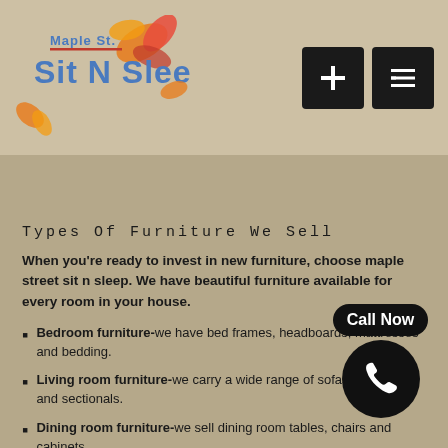[Figure (logo): Maple St. Sit N Sleep logo with blue text, red underline, and orange/fall leaf decorations]
[Figure (other): Navigation buttons: plus icon and list/menu icon, black square buttons]
Types Of Furniture We Sell
When you're ready to invest in new furniture, choose maple street sit n sleep. We have beautiful furniture available for every room in your house.
Bedroom furniture-we have bed frames, headboards, mattresses and bedding.
Living room furniture-we carry a wide range of sofas, loveseats and sectionals.
Dining room furniture-we sell dining room tables, chairs and cabinets.
[Figure (other): Call Now button with phone icon in black rounded badge and black circle]